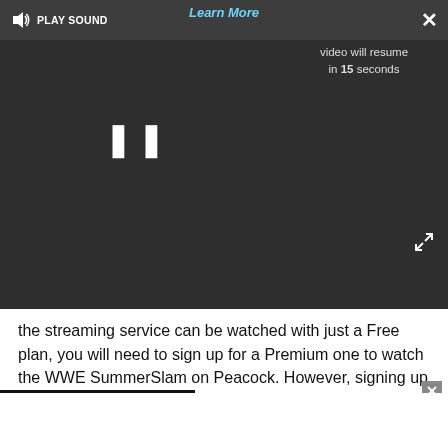[Figure (screenshot): Video player overlay with dark background showing a paused ad. Top bar shows speaker/sound icon, PLAY SOUND text, Learn More link in blue, and X close button. Center shows pause (||) button. Text overlay reads 'video will resume in 15 seconds'. Bottom right shows expand/fullscreen icon.]
the streaming service can be watched with just a Free plan, you will need to sign up for a Premium one to watch the WWE SummerSlam on Peacock. However, signing up for a Premium Peacock plan is still cheaper than paying full price for a PPV each time the WWE holds an event. You can also watch past WWE events on the service in case you want to see how this year's SummerSlam compares to previous ones.
Peacock's Premium plan gets